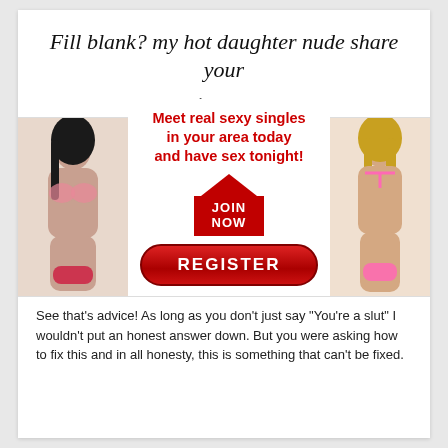Fill blank? my hot daughter nude share your
Posted on 30.06.2021
[Figure (photo): Advertisement banner with two female figures flanking central text. Center reads: 'Meet real sexy singles in your area today and have sex tonight!' with a JOIN NOW arrow button and a red REGISTER button.]
See that's advice! As long as you don't just say "You're a slut" I wouldn't put an honest answer down. But you were asking how to fix this and in all honesty, this is something that can't be fixed.